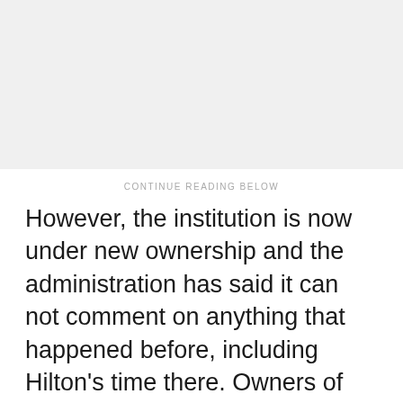[Figure (other): Gray advertisement placeholder area]
CONTINUE READING BELOW
However, the institution is now under new ownership and the administration has said it can not comment on anything that happened before, including Hilton’s time there. Owners of the school declined to comment Friday, pointing to a statement on the school website that said the previous owners sold the school